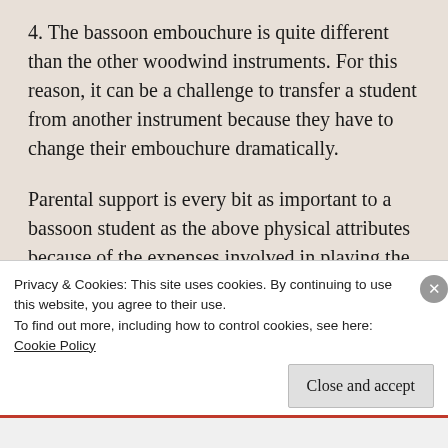4. The bassoon embouchure is quite different than the other woodwind instruments. For this reason, it can be a challenge to transfer a student from another instrument because they have to change their embouchure dramatically.
Parental support is every bit as important to a bassoon student as the above physical attributes because of the expenses involved in playing the instrument. Good quality bassoon reeds cost 15-20 dollars each and students need to have three
Privacy & Cookies: This site uses cookies. By continuing to use this website, you agree to their use.
To find out more, including how to control cookies, see here:
Cookie Policy